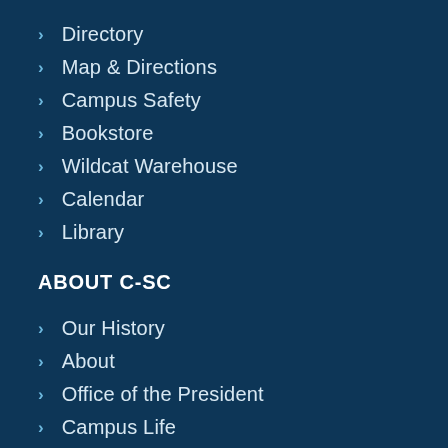Directory
Map & Directions
Campus Safety
Bookstore
Wildcat Warehouse
Calendar
Library
ABOUT C-SC
Our History
About
Office of the President
Campus Life
By the Numbers
In the News
Contact Us